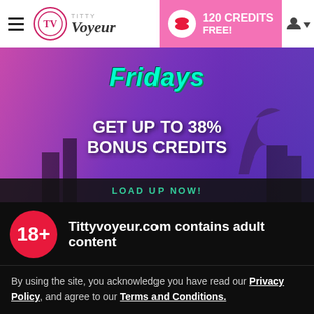Titty Voyeur — 120 CREDITS FREE! navigation bar
[Figure (screenshot): Promotional banner with purple/pink gradient background showing 'Fridays — GET UP TO 38% BONUS CREDITS' with two female figures on left and right sides, and a 'LOAD UP NOW!' strip at the bottom]
Tittyvoyeur.com contains adult content
By using the site, you acknowledge you have read our Privacy Policy, and agree to our Terms and Conditions.

We use cookies to optimize your experience, analyze traffic, and deliver more personalized service. To learn more, please see our Privacy Policy.
I AGREE